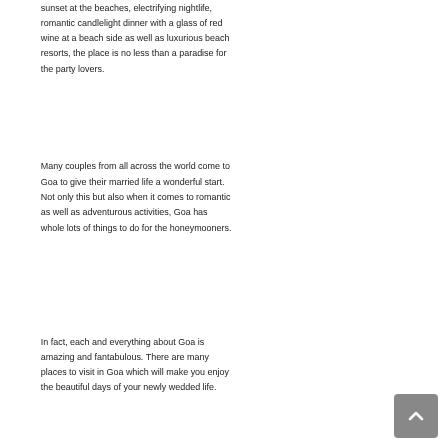sunset at the beaches, electrifying nightlife, romantic candlelight dinner with a glass of red wine at a beach side as well as luxurious beach resorts, the place is no less than a paradise for the party lovers.
Many couples from all across the world come to Goa to give their married life a wonderful start. Not only this but also when it comes to romantic as well as adventurous activities, Goa has whole lots of things to do for the honeymooners.
In fact, each and everything about Goa is amazing and fantabulous. There are many places to visit in Goa which will make you enjoy the beautiful days of your newly wedded life.